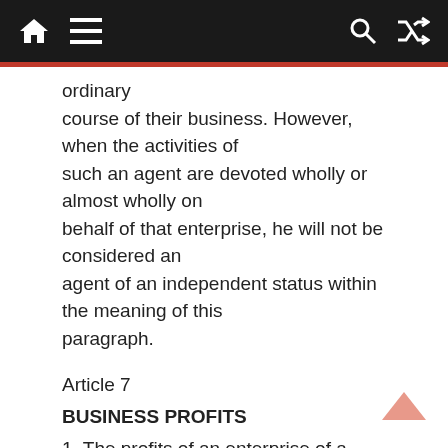Navigation bar with home, menu, search, and shuffle icons
ordinary course of their business. However, when the activities of such an agent are devoted wholly or almost wholly on behalf of that enterprise, he will not be considered an agent of an independent status within the meaning of this paragraph.
Article 7
BUSINESS PROFITS
1. The profits of an enterprise of a Contracting State